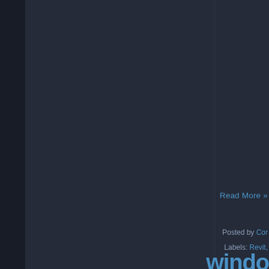[Figure (screenshot): Dark-themed web page screenshot showing a blog layout with a dark navy/charcoal background. The left side has a narrow dark sidebar, the center has a main content panel, a vertical divider on the right side of the main panel, and a right sidebar panel. Visible text elements include 'Read More »' as a blue link, 'Posted by Cor...' in muted blue-gray with blue name, 'Labels: Revit,' with blue label text, and partially visible large blue text 'windo' at the bottom right.]